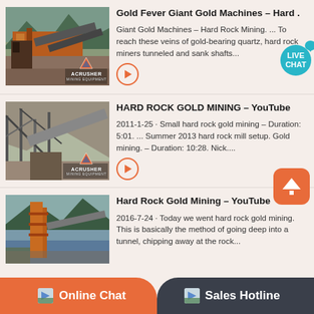[Figure (photo): Mining equipment/crusher facility with orange metal structure, conveyor belts, trees and mountains in background. Acrusher Mining Equipment logo overlay.]
Gold Fever Giant Gold Machines – Hard .
Giant Gold Machines – Hard Rock Mining. ... To reach these veins of gold-bearing quartz, hard rock miners tunneled and sank shafts...
[Figure (photo): Large industrial mining conveyor and processing structure against rocky hillside. Acrusher Mining Equipment logo overlay.]
HARD ROCK GOLD MINING – YouTube
2011-1-25 · Small hard rock gold mining – Duration: 5:01. ... Summer 2013 hard rock mill setup. Gold mining. – Duration: 10:28. Nick....
[Figure (photo): Mining facility with tall orange metal tower/structure, conveyor belts, trees and lake in background.]
Hard Rock Gold Mining – YouTube
2016-7-24 · Today we went hard rock gold mining. This is basically the method of going deep into a tunnel, chipping away at the rock...